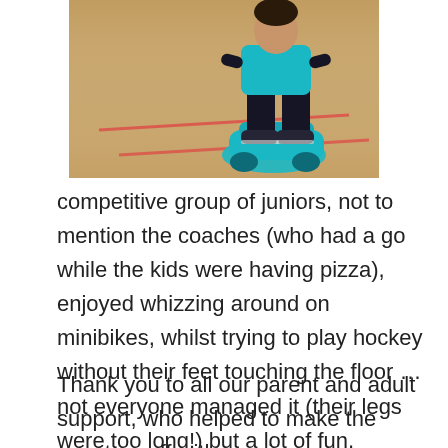[Figure (photo): A child sitting on a minibike (teal colored) on an indoor sports hall floor, wearing dark clothing and sneakers. Red court lines visible on the wooden floor.]
competitive group of juniors, not to mention the coaches (who had a go while the kids were having pizza), enjoyed whizzing around on minibikes, whilst trying to play hockey without their feet touching the floor … not everyone managed it (their legs were too long!) but a lot of fun, nevertheless.
Thank you to all our parent and adult support, who helped to make the event go off with a swing.